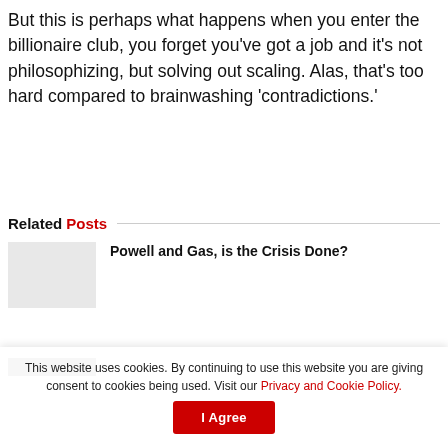But this is perhaps what happens when you enter the billionaire club, you forget you've got a job and it's not philosophizing, but solving out scaling. Alas, that's too hard compared to brainwashing 'contradictions.'
Related Posts
Powell and Gas, is the Crisis Done?
This website uses cookies. By continuing to use this website you are giving consent to cookies being used. Visit our Privacy and Cookie Policy.
I Agree